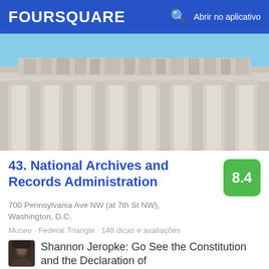FOURSQUARE   Abrir no aplicativo
[Figure (photo): Neoclassical building facade with large Corinthian columns and sculptural frieze, blue sky background — the National Archives building in Washington D.C.]
43. National Archives and Records Administration
8.4
700 Pennsylvania Ave NW (at 7th St NW), Washington, D.C.
Museu · Federal Triangle · 148 dicas e avaliações
Shannon Jeropke: Go See the Constitution and the Declaration of